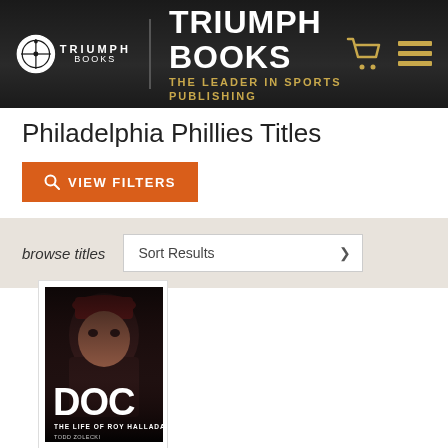[Figure (logo): Triumph Books header banner with logo, brand name, tagline 'The Leader in Sports Publishing', shopping cart icon, and menu icon on dark background]
Philadelphia Phillies Titles
VIEW FILTERS
browse titles
Sort Results
[Figure (photo): Book cover: DOC - The Life of Roy Halladay by Todd Zolecki. Shows a baseball player in red cap with serious expression, large white text 'DOC' at bottom, subtitle 'THE LIFE OF ROY HALLADAY']